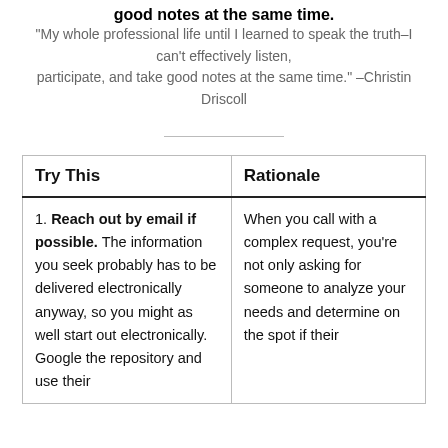good notes at the same time.
"My whole professional life until I learned to speak the truth–I can't effectively listen, participate, and take good notes at the same time." –Christin Driscoll
| Try This | Rationale |
| --- | --- |
| 1. Reach out by email if possible. The information you seek probably has to be delivered electronically anyway, so you might as well start out electronically. Google the repository and use their | When you call with a complex request, you're not only asking for someone to analyze your needs and determine on the spot if their |